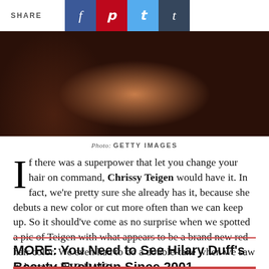SHARE
[Figure (photo): Close-up photo of a woman with long wavy brown highlighted hair, wearing a black outfit, taken at a dark event backdrop]
Photo: GETTY IMAGES
If there was a superpower that let you change your hair on command, Chrissy Teigen would have it. In fact, we're pretty sure she already has it, because she debuts a new color or cut more often than we can keep up. So it should've come as no surprise when we spotted a pic of Teigen with what appears to be a brand new red hair color. We even had to do a double-take when we saw it, because RED HAIR!
MORE: You Need to See Hilary Duff's Beauty Evolution Since 2001